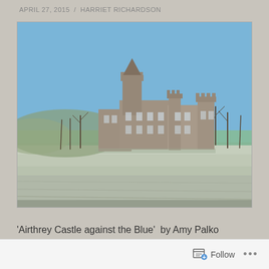APRIL 27, 2015  /  HARRIET RICHARDSON
[Figure (photo): Photograph of Airthrey Castle against a blue sky, surrounded by frost-covered grounds and bare trees. The castle is a large Victorian-era stone building with battlements and a round tower.]
'Airthrey Castle against the Blue'  by Amy Palko photographed in 2007, and licensed under  CC BY-NC-SA 2.0